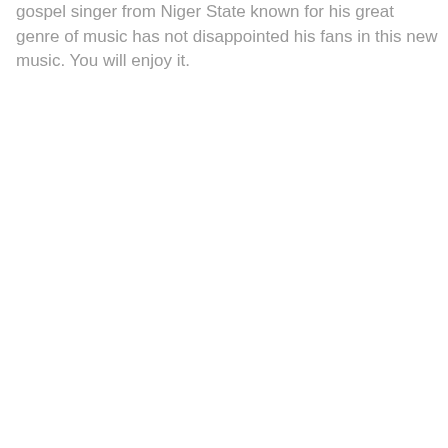gospel singer from Niger State known for his great genre of music has not disappointed his fans in this new music. You will enjoy it.